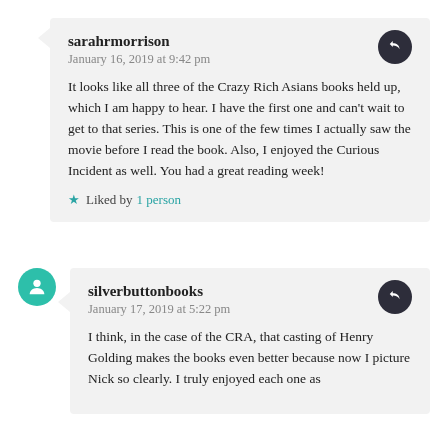sarahrmorrison
January 16, 2019 at 9:42 pm
It looks like all three of the Crazy Rich Asians books held up, which I am happy to hear. I have the first one and can't wait to get to that series. This is one of the few times I actually saw the movie before I read the book. Also, I enjoyed the Curious Incident as well. You had a great reading week!
Liked by 1 person
silverbuttonbooks
January 17, 2019 at 5:22 pm
I think, in the case of the CRA, that casting of Henry Golding makes the books even better because now I picture Nick so clearly. I truly enjoyed each one as